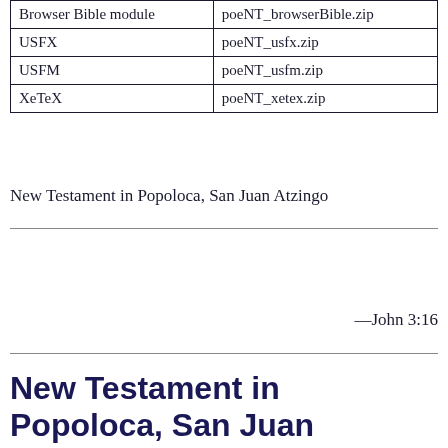| Browser Bible module | poeNT_browserBible.zip |
| --- | --- |
| USFX | poeNT_usfx.zip |
| USFM | poeNT_usfm.zip |
| XeTeX | poeNT_xetex.zip |
New Testament in Popoloca, San Juan Atzingo
—John 3:16
New Testament in Popoloca, San Juan Atzingo